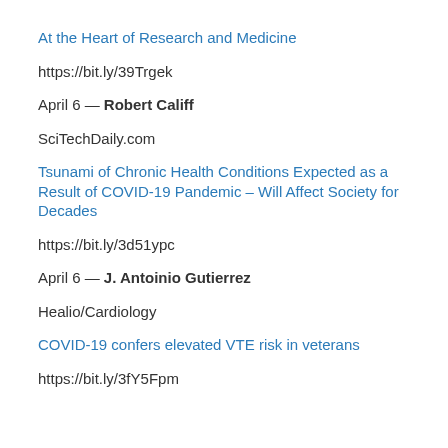At the Heart of Research and Medicine
https://bit.ly/39Trgek
April 6 — Robert Califf
SciTechDaily.com
Tsunami of Chronic Health Conditions Expected as a Result of COVID-19 Pandemic – Will Affect Society for Decades
https://bit.ly/3d51ypc
April 6 — J. Antoinio Gutierrez
Healio/Cardiology
COVID-19 confers elevated VTE risk in veterans
https://bit.ly/3fY5Fpm